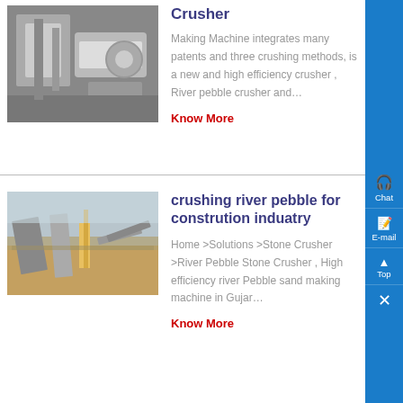[Figure (photo): Industrial crushing/sand-making machine equipment, grey tones]
Crusher
Making Machine integrates many patents and three crushing methods, is a new and high efficiency crusher , River pebble crusher and…
Know More
[Figure (photo): Outdoor industrial river pebble crushing plant with conveyor belts and equipment, sandy terrain]
crushing river pebble for constrution induatry
Home >Solutions >Stone Crusher >River Pebble Stone Crusher , High efficiency river Pebble sand making machine in Gujar…
Know More